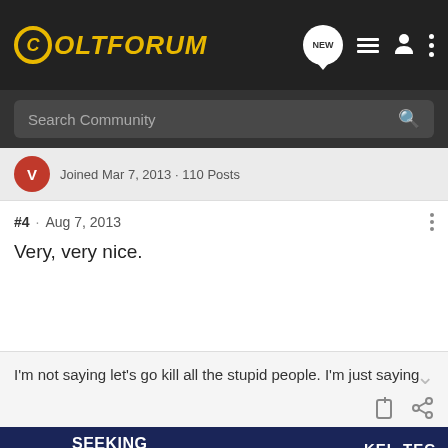ColtForum
Search Community
Joined Mar 7, 2013 · 110 Posts
#4 · Aug 7, 2013
Very, very nice.
I'm not saying let's go kill all the stupid people. I'm just saying
[Figure (screenshot): Advertisement banner for Kel-Tec CP33 pistol reading SEEKING LONG RANGE RELATIONSHIP with image of a handgun]